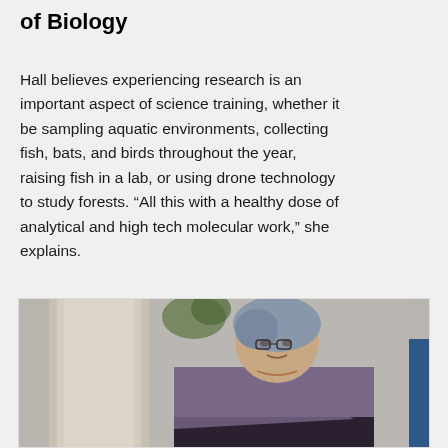of Biology
Hall believes experiencing research is an important aspect of science training, whether it be sampling aquatic environments, collecting fish, bats, and birds throughout the year, raising fish in a lab, or using drone technology to study forests. “All this with a healthy dose of analytical and high tech molecular work,” she explains.
[Figure (photo): A woman with grey-streaked hair and glasses, wearing a purple cardigan over a black top, standing with arms crossed in front of a concrete pillar in what appears to be a modern building interior with plants visible in the background.]